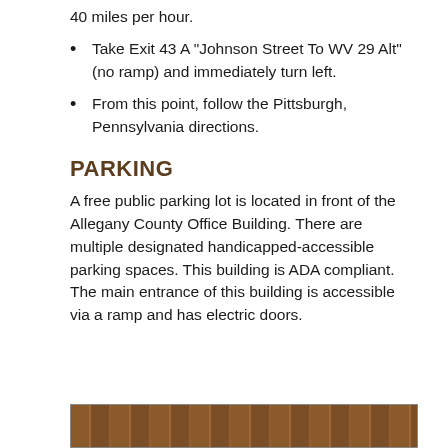40 miles per hour.
Take Exit 43 A "Johnson Street To WV 29 Alt" (no ramp) and immediately turn left.
From this point, follow the Pittsburgh, Pennsylvania directions.
PARKING
A free public parking lot is located in front of the Allegany County Office Building. There are multiple designated handicapped-accessible parking spaces. This building is ADA compliant. The main entrance of this building is accessible via a ramp and has electric doors.
[Figure (photo): Photograph of the exterior brick facade of the Allegany County Office Building]